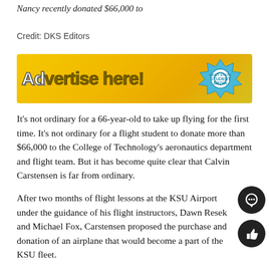Nancy recently donated $66,000 to
Credit: DKS Editors
[Figure (illustration): Advertisement banner with yellow background showing 'Advertise here!' text with Kent State Student Media logo]
It's not ordinary for a 66-year-old to take up flying for the first time. It's not ordinary for a flight student to donate more than $66,000 to the College of Technology's aeronautics department and flight team. But it has become quite clear that Calvin Carstensen is far from ordinary.
After two months of flight lessons at the KSU Airport under the guidance of his flight instructors, Dawn Resek and Michael Fox, Carstensen proposed the purchase and donation of an airplane that would become a part of the KSU fleet.